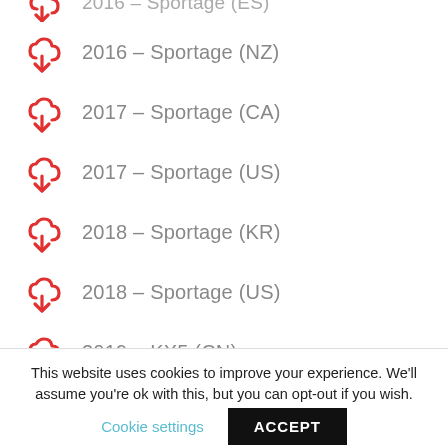2016 – Sportage (NZ)
2017 – Sportage (CA)
2017 – Sportage (US)
2018 – Sportage (KR)
2018 – Sportage (US)
2019 – KX5 (CN)
2019 – Sportage (KR)
2020 – Sportage (CA)
2021 – KX5 (CN)
2021 – Sportage (KR)
2022 – Sportage Ace (CN)
This website uses cookies to improve your experience. We'll assume you're ok with this, but you can opt-out if you wish.
Cookie settings  ACCEPT